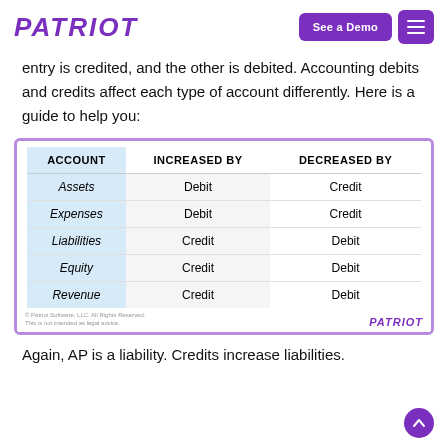PATRIOT | See a Demo | [menu]
entry is credited, and the other is debited. Accounting debits and credits affect each type of account differently. Here is a guide to help you:
| ACCOUNT | INCREASED BY | DECREASED BY |
| --- | --- | --- |
| Assets | Debit | Credit |
| Expenses | Debit | Credit |
| Liabilities | Credit | Debit |
| Equity | Credit | Debit |
| Revenue | Credit | Debit |
Again, AP is a liability. Credits increase liabilities.